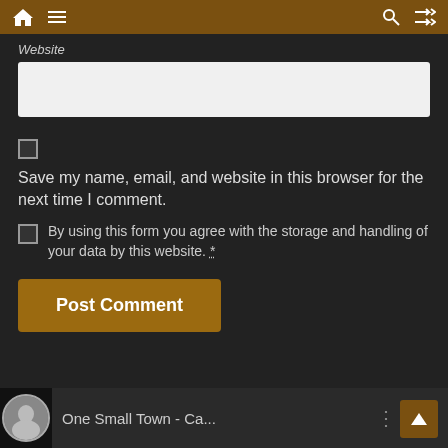Navigation bar with home, menu, search, and shuffle icons
Website
Save my name, email, and website in this browser for the next time I comment.
By using this form you agree with the storage and handling of your data by this website. *
Post Comment
One Small Town - Ca...